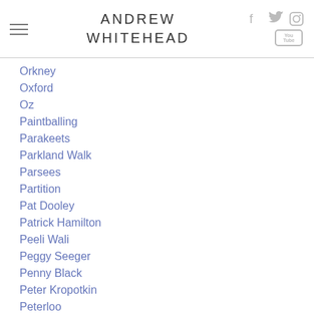ANDREW WHITEHEAD
Orkney
Oxford
Oz
Paintballing
Parakeets
Parkland Walk
Parsees
Partition
Pat Dooley
Patrick Hamilton
Peeli Wali
Peggy Seeger
Penny Black
Peter Kropotkin
Peterloo
Philip Spratt